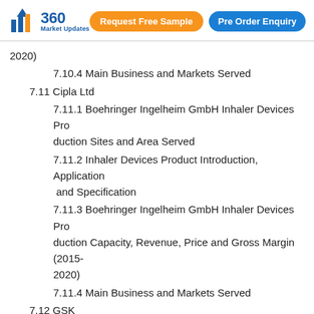[Figure (logo): 360 Market Updates logo with bar chart icon]
Request Free Sample
Pre Order Enquiry
2020)
7.10.4 Main Business and Markets Served
7.11 Cipla Ltd
7.11.1 Boehringer Ingelheim GmbH Inhaler Devices Production Sites and Area Served
7.11.2 Inhaler Devices Product Introduction, Application and Specification
7.11.3 Boehringer Ingelheim GmbH Inhaler Devices Production Capacity, Revenue, Price and Gross Margin (2015-2020)
7.11.4 Main Business and Markets Served
7.12 GSK
7.12.1 Cipla Ltd Inhaler Devices Production Sites and Area Served